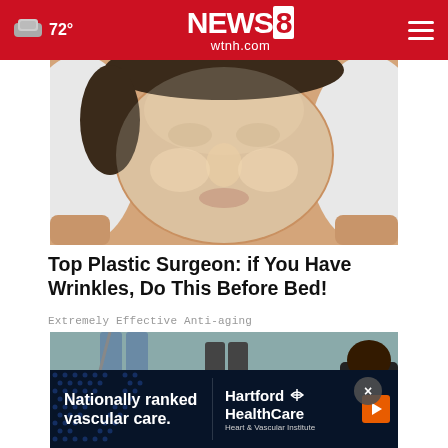72° NEWS8 wtnh.com
[Figure (photo): Close-up of a woman's face with a clear moisturizing face mask/sheet applied, being held at edges with white cloth]
Top Plastic Surgeon: if You Have Wrinkles, Do This Before Bed!
Extremely Effective Anti-aging
[Figure (photo): Street scene showing people's legs and feet walking with a dog on a leash on a tiled sidewalk]
[Figure (other): Advertisement banner: Nationally ranked vascular care. Hartford HealthCare Heart & Vascular Institute]